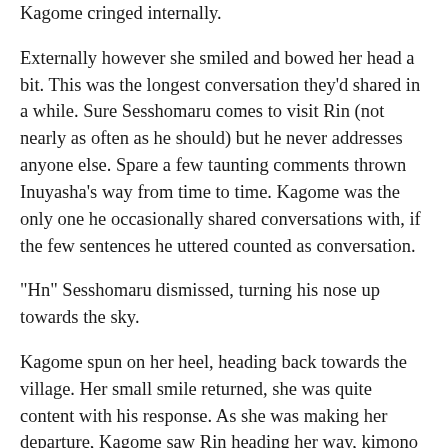Kagome cringed internally.
Externally however she smiled and bowed her head a bit. This was the longest conversation they'd shared in a while. Sure Sesshomaru comes to visit Rin (not nearly as often as he should) but he never addresses anyone else. Spare a few taunting comments thrown Inuyasha's way from time to time. Kagome was the only one he occasionally shared conversations with, if the few sentences he uttered counted as conversation.
"Hn" Sesshomaru dismissed, turning his nose up towards the sky.
Kagome spun on her heel, heading back towards the village. Her small smile returned, she was quite content with his response. As she was making her departure, Kagome saw Rin heading her way, kimono in one hand, a small package in the other. Rin skipped past Kagome happily, barely even acknowledging Kagome was even there, beelining towards Sesshomaru.
What an odd, but cute family they make. Who would've thought the man, well demon, who tried to kill me would have his own human daughter. Speaking of family, maybe I'll eat with Sango and the kids tonight, we haven't shared dinner in a while.